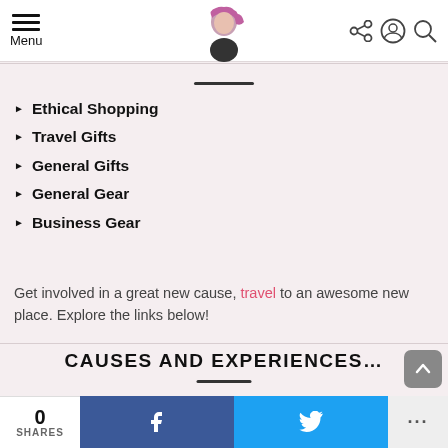Menu [navigation icons]
Ethical Shopping
Travel Gifts
General Gifts
General Gear
Business Gear
Get involved in a great new cause, travel to an awesome new place. Explore the links below!
CAUSES AND EXPERIENCES…
Travel Experiences
Feminism
0 SHARES  f  [twitter bird]  ...